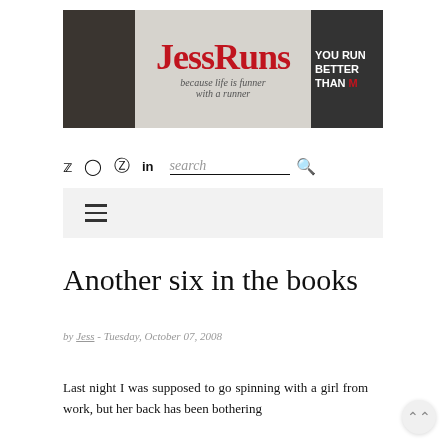[Figure (logo): JessRuns blog header banner with red script logo text 'JessRuns', tagline 'because life is funner with a runner', dark side panels with runner/medal imagery and text 'YOU RUN BETTER THAN M']
Twitter Instagram Pinterest LinkedIn search [search icon]
≡ (hamburger menu)
Another six in the books
by Jess - Tuesday, October 07, 2008
Last night I was supposed to go spinning with a girl from work, but her back has been bothering